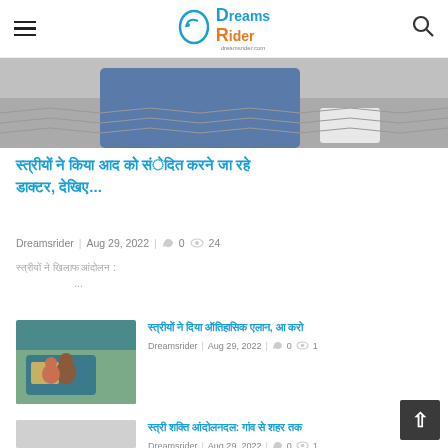Dreams Rider
[Figure (photo): Partial photo of a person sitting on a paved/cobbled ground, wearing jeans, with a white bag visible]
Hindi text title (article headline in Devanagari script)
Dreamsrider  Aug 29, 2022  0  24
Hindi excerpt text with ellipsis (...)
[Figure (photo): Photo of a person near an auto-rickshaw]
Hindi text title second article (Devanagari script), 0 views 1
Dreamsrider  Aug 29, 2022  0  1
Hindi text title third article (Devanagari script): subtitle, 0 views 1
Dreamsrider  Aug 29, 2022  0  1